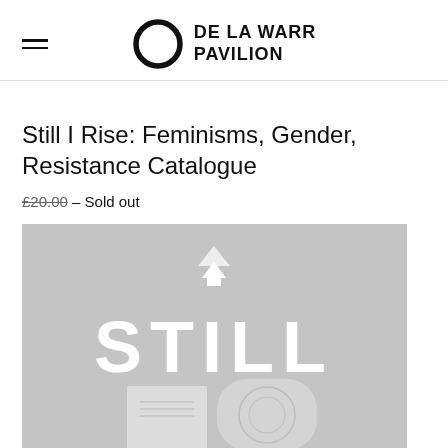DE LA WARR PAVILION (logo with ring icon)
Still I Rise: Feminisms, Gender, Resistance Catalogue
£20.00 – Sold out
[Figure (photo): Book cover of 'Still I Rise: Feminisms, Gender, Resistance Catalogue' displayed on a grey background. The word STILL is prominently shown in large white letters. Below it is a book with circular ornate design visible.]